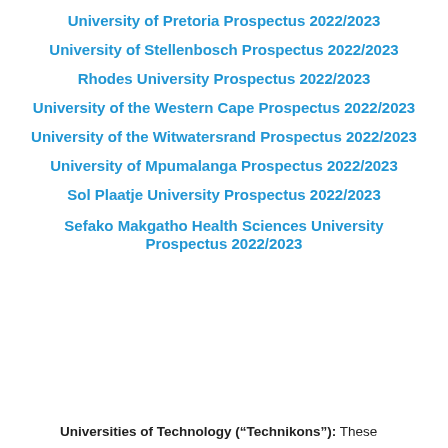University of Pretoria Prospectus 2022/2023
University of Stellenbosch Prospectus 2022/2023
Rhodes University Prospectus 2022/2023
University of the Western Cape Prospectus 2022/2023
University of the Witwatersrand Prospectus 2022/2023
University of Mpumalanga Prospectus 2022/2023
Sol Plaatje University Prospectus 2022/2023
Sefako Makgatho Health Sciences University Prospectus 2022/2023
Universities of Technology (“Technikons”): These